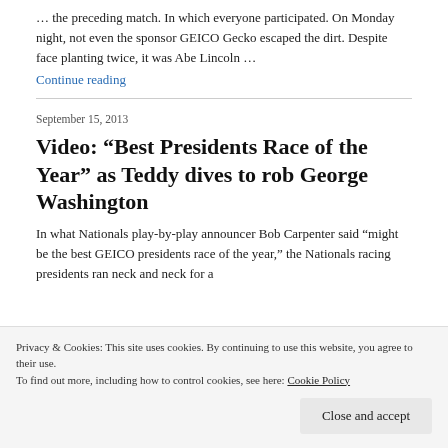… the preceding match. In which everyone participated. On Monday night, not even the sponsor GEICO Gecko escaped the dirt. Despite face planting twice, it was Abe Lincoln …
Continue reading
September 15, 2013
Video: “Best Presidents Race of the Year” as Teddy dives to rob George Washington
In what Nationals play-by-play announcer Bob Carpenter said “might be the best GEICO presidents race of the year,” the Nationals racing presidents ran neck and neck for a
Privacy & Cookies: This site uses cookies. By continuing to use this website, you agree to their use.
To find out more, including how to control cookies, see here: Cookie Policy
Close and accept